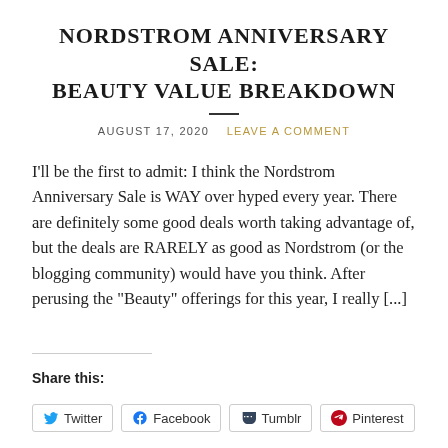NORDSTROM ANNIVERSARY SALE: BEAUTY VALUE BREAKDOWN
AUGUST 17, 2020   LEAVE A COMMENT
I'll be the first to admit: I think the Nordstrom Anniversary Sale is WAY over hyped every year. There are definitely some good deals worth taking advantage of, but the deals are RARELY as good as Nordstrom (or the blogging community) would have you think. After perusing the "Beauty" offerings for this year, I really [...]
Share this:
Twitter  Facebook  Tumblr  Pinterest